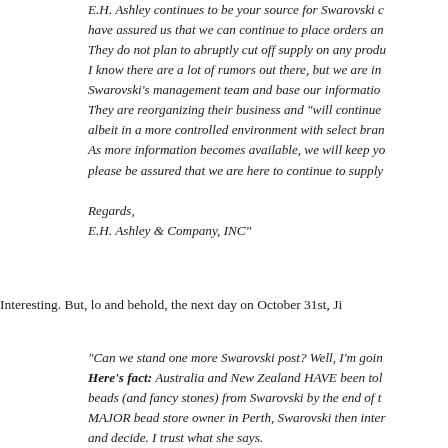E.H. Ashley continues to be your source for Swarovski c... have assured us that we can continue to place orders an... They do not plan to abruptly cut off supply on any produ... I know there are a lot of rumors out there, but we are in Swarovski's management team and base our informatio... They are reorganizing their business and "will continue albeit in a more controlled environment with select bran... As more information becomes available, we will keep yo... please be assured that we are here to continue to supply... Regards, E.H. Ashley & Company, INC"
Interesting. But, lo and behold, the next day on October 31st, Ji...
"Can we stand one more Swarovski post? Well, I'm goin... Here's fact: Australia and New Zealand HAVE been tol... beads (and fancy stones) from Swarovski by the end of t... MAJOR bead store owner in Perth, Swarovski then inter... and decide. I trust what she says. Swarovski IS going through a major reorganization with...